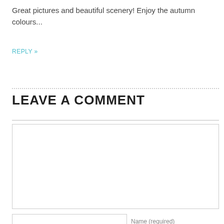Great pictures and beautiful scenery! Enjoy the autumn colours...
REPLY »
LEAVE A COMMENT